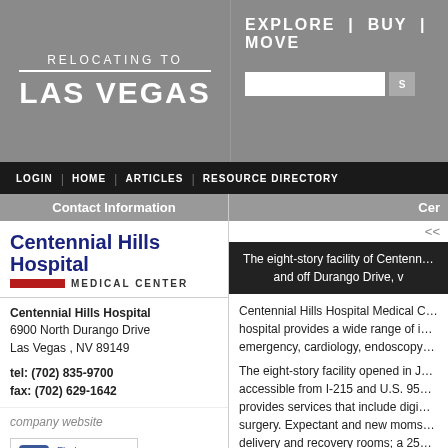[Figure (screenshot): Website header with 'Relocating to Las Vegas' logo on left and 'Explore | Buy | Move' navigation with search bar on right, gray background]
LOGIN | HOME | ARTICLES | RESOURCE DIRECTORY
Contact Information
Cer
[Figure (logo): Centennial Hills Hospital Medical Center logo — bold blue text 'Centennial Hills Hospital' above a red horizontal bar and 'MEDICAL CENTER' text]
Centennial Hills Hospital
6900 North Durango Drive
Las Vegas , NV 89149

tel: (702) 835-9700
fax: (702) 629-1642
company website
[Figure (logo): Find us on Facebook button with Facebook icon]
Gallery
[Figure (photo): Building exterior thumbnail]
[Figure (photo): Interior thumbnail]
<<
The eight-story facility of Centenn… and off Durango Drive, v
Centennial Hills Hospital Medical C… hospital provides a wide range of i… emergency, cardiology, endoscopy…
The eight-story facility opened in J… accessible from I-215 and U.S. 95… provides services that include digi… surgery. Expectant and new moms… delivery and recovery rooms; a 25… newborn intensive care unit (NICU… hours a day, seven days a week.
H